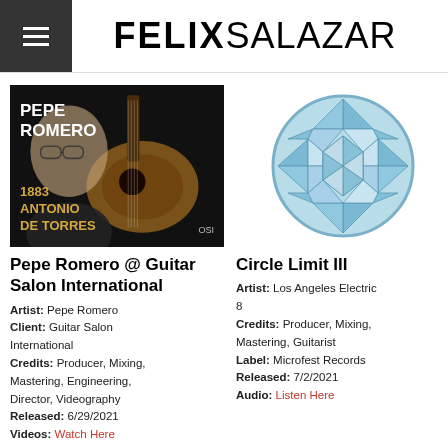FELIX SALAZAR
[Figure (photo): Album cover for Pepe Romero at Guitar Salon International — photo of guitarist with text overlay '1883 ANTONIO DE TORRES' and 'OSI']
Pepe Romero @ Guitar Salon International
Artist: Pepe Romero
Client: Guitar Salon International
Credits: Producer, Mixing, Mastering, Engineering, Director, Videography
Released: 6/29/2021
Videos: Watch Here
[Figure (illustration): Circle Limit III — circular geometric pattern with triangular tessellation in shades of blue and white]
Circle Limit III
Artist: Los Angeles Electric 8
Credits: Producer, Mixing, Mastering, Guitarist
Label: Microfest Records
Released: 7/2/2021
Audio: Listen Here